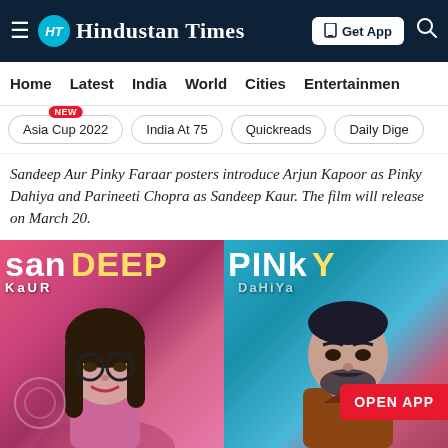Hindustan Times
Home | Latest | India | World | Cities | Entertainment
Asia Cup 2022 (NEW) | India At 75 | Quickreads | Daily Dige
Sandeep Aur Pinky Faraar posters introduce Arjun Kapoor as Pinky Dahiya and Parineeti Chopra as Sandeep Kaur. The film will release on March 20.
[Figure (illustration): Movie posters for Sandeep Aur Pinky Faraar showing illustrated portraits. Left side shows 'SANDEEP KAUR' with a woman wearing glasses on pink background. Right side shows 'PINKY DAHIYA' with a man on teal/blue background. An 'OPEN APP' red button is visible on the right.]